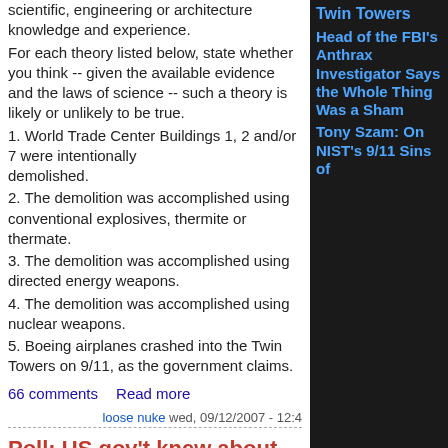scientific, engineering or architecture knowledge and experience.
For each theory listed below, state whether you think -- given the available evidence and the laws of science -- such a theory is likely or unlikely to be true.
1. World Trade Center Buildings 1, 2 and/or 7 were intentionally demolished.
2. The demolition was accomplished using conventional explosives, thermite or thermate.
3. The demolition was accomplished using directed energy weapons.
4. The demolition was accomplished using nuclear weapons.
5. Boeing airplanes crashed into the Twin Towers on 9/11, as the government claims.
66 comments   Read more
loose nuke  wed, 09/12/2007 - 12:4
Poll: US gov't knew about 9/11 attac
Americans  ATTACKS  Government  knew  poll  press  Zogby International
A new poll indicates that some 43 percent of Americans believe that Washington knew about the
Twin Towers
Head of the FBI's Anthrax Investigator Says the Whole Thing Was a Sham
Tony Szam: On NIST's 9/11 Sins of